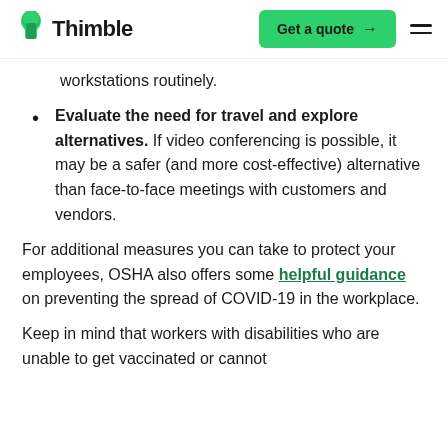Thimble | Get a quote
workstations routinely.
Evaluate the need for travel and explore alternatives. If video conferencing is possible, it may be a safer (and more cost-effective) alternative than face-to-face meetings with customers and vendors.
For additional measures you can take to protect your employees, OSHA also offers some helpful guidance on preventing the spread of COVID-19 in the workplace.
Keep in mind that workers with disabilities who are unable to get vaccinated or cannot